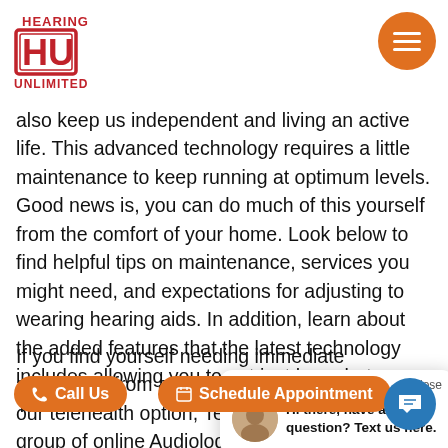Hearing Unlimited
also keep us independent and living an active life. This advanced technology requires a little maintenance to keep running at optimum levels. Good news is, you can do much of this yourself from the comfort of your home. Look below to find helpful tips on maintenance, services you might need, and expectations for adjusting to wearing hearing aids. In addition, learn about the added features that the latest technology includes allowing you to not just hear, but Thrive.
If you find yourself needing immediate assistance from an Audiologist feel free to use our telehealth option, TeleHear. TeleHear is a group of online Audiologists that _____ to _____ _____ _____ hearing needs at your convenience from the comfort and safety of